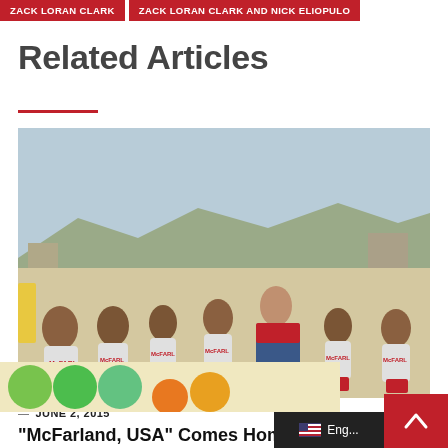ZACK LORAN CLARK | ZACK LORAN CLARK AND NICK ELIOPULO
Related Articles
[Figure (photo): Group photo of young men wearing McFarland cross-country uniforms (gray and red tank tops and red shorts) standing with a taller adult man in a blue jacket on a sunny outdoor location with hills in background.]
— JUNE 2, 2015
“McFarland, USA” Comes Home to Tug Your Heartstrings